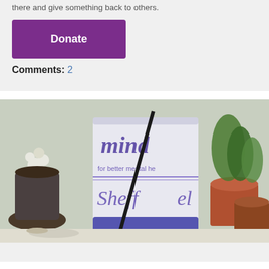there and give something back to others.
Donate
Comments: 2
[Figure (photo): Close-up photo of a Mind (for better mental health) branded cup with 'Sheffield' written on it, surrounded by potted plants on a windowsill.]